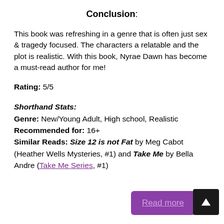Conclusion:
This book was refreshing in a genre that is often just sex & tragedy focused. The characters a relatable and the plot is realistic. With this book, Nyrae Dawn has become a must-read author for me!
Rating: 5/5
Shorthand Stats:
Genre: New/Young Adult, High school, Realistic
Recommended for: 16+
Similar Reads: Size 12 is not Fat by Meg Cabot (Heather Wells Mysteries, #1) and Take Me by Bella Andre (Take Me Series, #1)